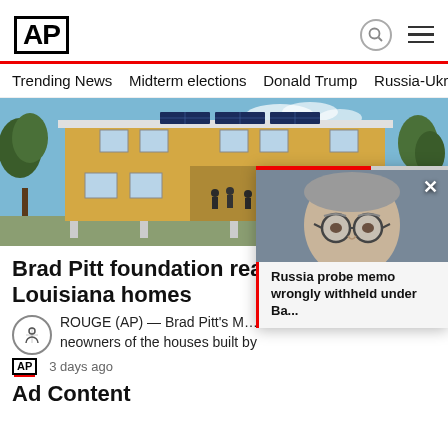AP
Trending News  Midterm elections  Donald Trump  Russia-Ukr
[Figure (photo): Two-story yellow house on stilts with solar panels on the roof, trees in background, people on the deck/porch area.]
Brad Pitt foundation reaches Louisiana homes
BATON ROUGE (AP) — Brad Pitt's M… a… neowners of the houses built by
AP  3 days ago
[Figure (photo): Man with glasses and gray hair (William Barr) looking downward, with popup article overlay.]
Russia probe memo wrongly withheld under Ba...
Ad Content